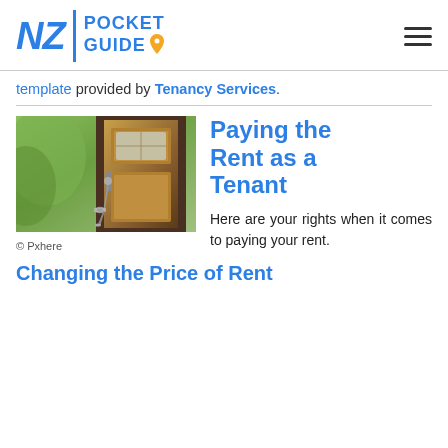NZ POCKET GUIDE
template provided by Tenancy Services.
[Figure (photo): A wooden door with keys hanging in the lock, green outdoor background visible]
© Pxhere
Paying the Rent as a Tenant
Here are your rights when it comes to paying your rent.
Changing the Price of Rent